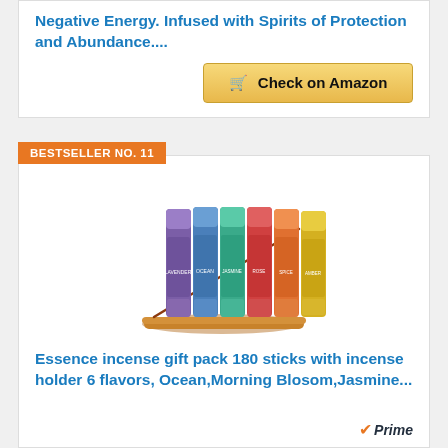Negative Energy. Infused with Spirits of Protection and Abundance....
Check on Amazon
BESTSELLER NO. 11
[Figure (photo): Essence incense gift pack showing 6 colorful tubes of incense sticks arranged side by side with an incense holder stick holder in front]
Essence incense gift pack 180 sticks with incense holder 6 flavors, Ocean,Morning Blosom,Jasmine...
Prime